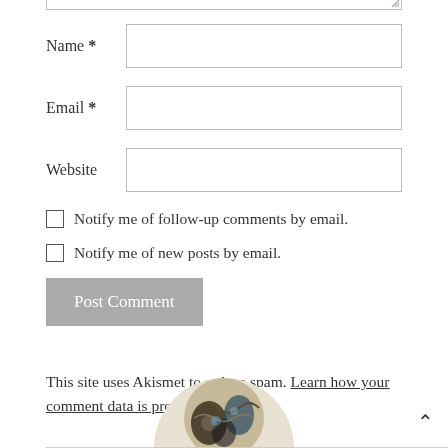Name *
Email *
Website
Notify me of follow-up comments by email.
Notify me of new posts by email.
Post Comment
This site uses Akismet to reduce spam. Learn how your comment data is processed.
[Figure (photo): Partial circular profile image visible at bottom center of page]